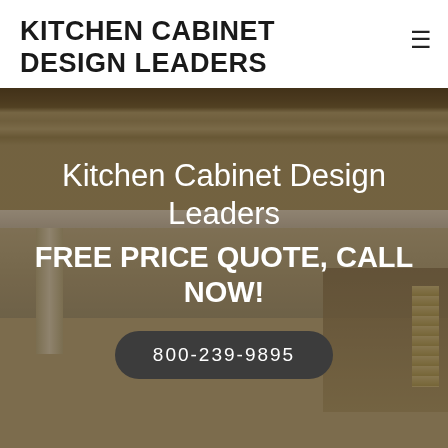KITCHEN CABINET DESIGN LEADERS
[Figure (photo): Exterior photo of a house showing a tiled roof and covered patio with columns, used as hero background image]
Kitchen Cabinet Design Leaders
FREE PRICE QUOTE, CALL NOW!
800-239-9895